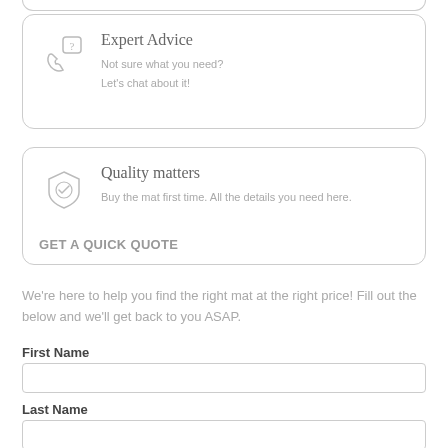[Figure (other): Partial bottom edge of a card from above the visible area]
Expert Advice
Not sure what you need?
Let's chat about it!
Quality matters
Buy the mat first time. All the details you need here.
GET A QUICK QUOTE
We're here to help you find the right mat at the right price! Fill out the below and we'll get back to you ASAP.
First Name
Last Name
Phone / Mobile